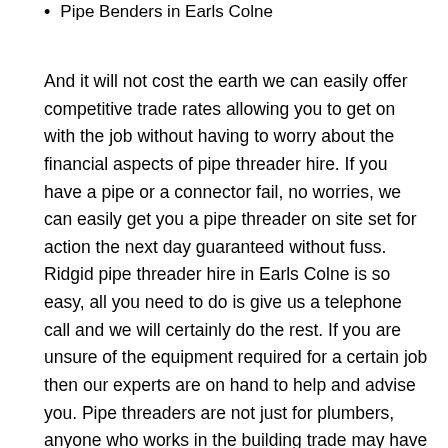Pipe Benders in Earls Colne
And it will not cost the earth we can easily offer competitive trade rates allowing you to get on with the job without having to worry about the financial aspects of pipe threader hire. If you have a pipe or a connector fail, no worries, we can easily get you a pipe threader on site set for action the next day guaranteed without fuss. Ridgid pipe threader hire in Earls Colne is so easy, all you need to do is give us a telephone call and we will certainly do the rest. If you are unsure of the equipment required for a certain job then our experts are on hand to help and advise you. Pipe threaders are not just for plumbers, anyone who works in the building trade may have occasional need for this equipment at some stage and that's where hiring a pipe threader can prove to be the more affordable choice.